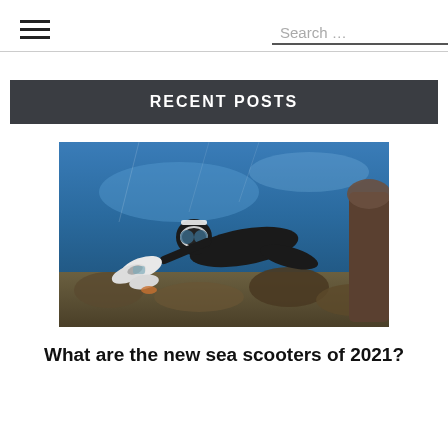Search …
RECENT POSTS
[Figure (photo): A diver in a black wetsuit and goggles holding a white underwater sea scooter/propulsion device, swimming over a coral reef underwater.]
What are the new sea scooters of 2021?